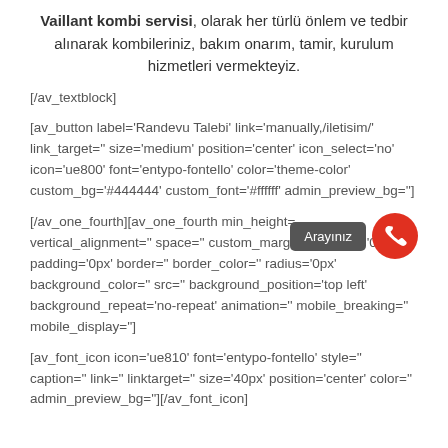Vaillant kombi servisi, olarak her türlü önlem ve tedbir alınarak kombileriniz, bakım onarım, tamir, kurulum hizmetleri vermekteyiz.
[/av_textblock]
[av_button label='Randevu Talebi' link='manually,/iletisim/' link_target='' size='medium' position='center' icon_select='no' icon='ue800' font='entypo-fontello' color='theme-color' custom_bg='#444444' custom_font='#ffffff' admin_preview_bg='']
[/av_one_fourth][av_one_fourth min_height='' vertical_alignment='' space='' custom_margin='' margin='0px' padding='0px' border='' border_color='' radius='0px' background_color='' src='' background_position='top left' background_repeat='no-repeat' animation='' mobile_breaking='' mobile_display='']
[av_font_icon icon='ue810' font='entypo-fontello' style='' caption='' link='' linktarget='' size='40px' position='center' color='' admin_preview_bg=''][/av_font_icon]